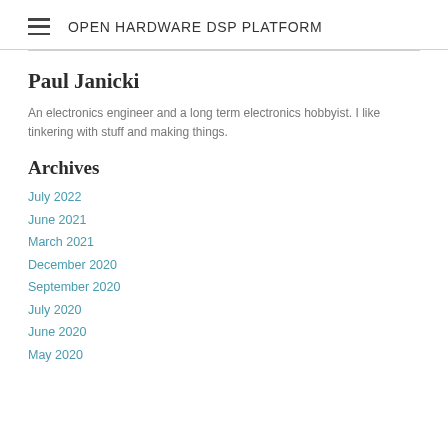OPEN HARDWARE DSP PLATFORM
Paul Janicki
An electronics engineer and a long term electronics hobbyist. I like tinkering with stuff and making things.
Archives
July 2022
June 2021
March 2021
December 2020
September 2020
July 2020
June 2020
May 2020